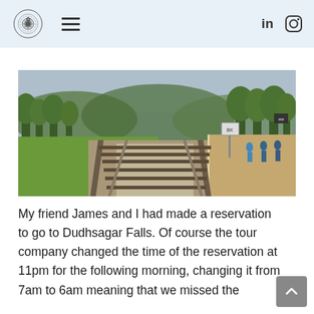[Logo] [Hamburger menu] [LinkedIn icon] [Instagram icon]
[Figure (photo): Railroad tracks extending into the distance alongside a station platform, with green trees and hills in the background. People are visible on the platform to the right side.]
My friend James and I had made a reservation to go to Dudhsagar Falls. Of course the tour company changed the time of the reservation at 11pm for the following morning, changing it from 7am to 6am meaning that we missed the